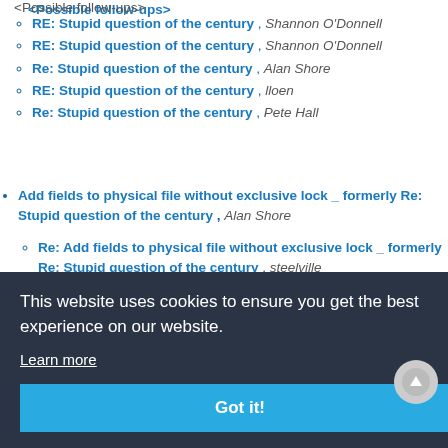<Possible follow-ups>
RE: Stupid question of the century , Shannon O'Donnell
RE: Stupid question of the century , Shannon O'Donnell
Re: Stupid question of the century , Alan Shore
RE: Stupid question of the century , lloen
Re: Stupid question of the century , Pete Hall
Add fields to physical file without exclusive lock _ formerly Re: Stupid question of the century , Alan Shore
Re: Add fields to physical file without exclusive lock _ formerly Re: Stupid question of the century , steelville
Re: Add fields to physical file without exclusive lock _ formerly Re: Stupid question of the century , Alan Shore
[Figure (screenshot): Cookie consent banner overlay with dark background, text 'This website uses cookies to ensure you get the best experience on our website.', Learn more link, and Got it! button in teal/cyan color]
Re: ILE Novice , Barbara Morris